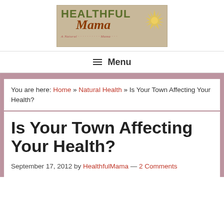[Figure (logo): Healthful Mama blog logo on burlap-textured background with sun graphic]
≡ Menu
You are here: Home » Natural Health » Is Your Town Affecting Your Health?
Is Your Town Affecting Your Health?
September 17, 2012 by HealthfulMama — 2 Comments